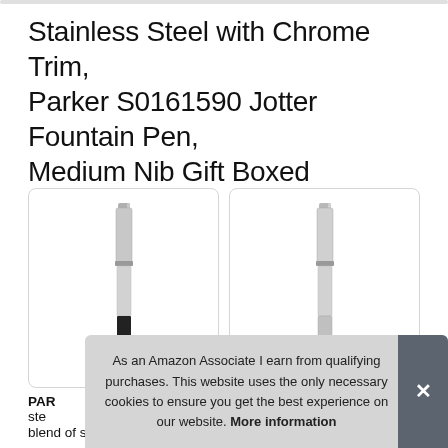Stainless Steel with Chrome Trim, Parker S0161590 Jotter Fountain Pen, Medium Nib Gift Boxed
[Figure (photo): Two Parker Jotter fountain pens shown side by side in separate white-bordered boxes. Left pen has a black grip section with stainless steel body. Right pen appears fully stainless steel.]
PAR... stee... blend of sophisticated and practical, jotter personifies the
As an Amazon Associate I earn from qualifying purchases. This website uses the only necessary cookies to ensure you get the best experience on our website. More information